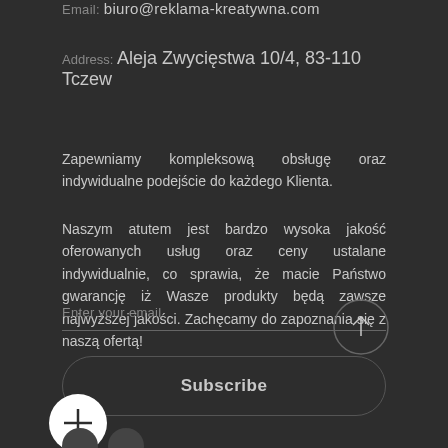Email: biuro@reklama-kreatywna.com
Address: Aleja Zwycięstwa 10/4, 83-110 Tczew
Zapewniamy kompleksową obsługę oraz indywidualne podejście do każdego Klienta.
Naszym atutem jest bardzo wysoka jakość oferowanych usług oraz ceny ustalane indywidualnie, co sprawia, że macie Państwo gwarancję iż Wasze produkty będą zawsze najwyższej jakości. Zachęcamy do zapoznania się z naszą ofertą!
Enter your email
Subscribe